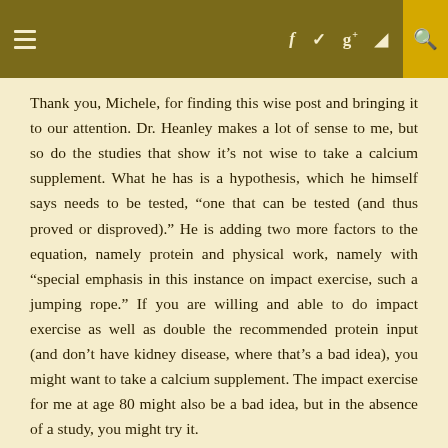≡   f  ✓  g+  )))   🔍
Thank you, Michele, for finding this wise post and bringing it to our attention. Dr. Heanley makes a lot of sense to me, but so do the studies that show it’s not wise to take a calcium supplement. What he has is a hypothesis, which he himself says needs to be tested, “one that can be tested (and thus proved or disproved).” He is adding two more factors to the equation, namely protein and physical work, namely with “special emphasis in this instance on impact exercise, such a jumping rope.” If you are willing and able to do impact exercise as well as double the recommended protein input (and don’t have kidney disease, where that’s a bad idea), you might want to take a calcium supplement. The impact exercise for me at age 80 might also be a bad idea, but in the absence of a study, you might try it.